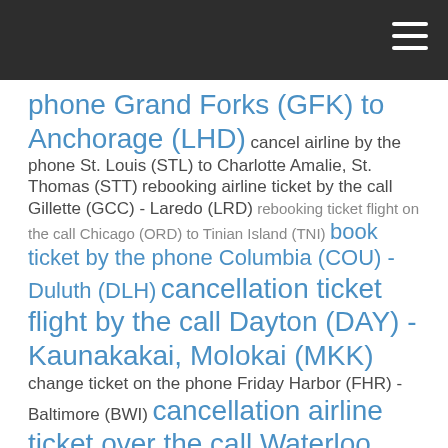phone Grand Forks (GFK) to Anchorage (LHD) cancel airline by the phone St. Louis (STL) to Charlotte Amalie, St. Thomas (STT) rebooking airline ticket by the call Gillette (GCC) - Laredo (LRD) rebooking ticket flight on the call Chicago (ORD) to Tinian Island (TNI) book ticket by the phone Columbia (COU) - Duluth (DLH) cancellation ticket flight by the call Dayton (DAY) - Kaunakakai, Molokai (MKK) change ticket on the phone Friday Harbor (FHR) - Baltimore (BWI) cancellation airline ticket over the call Waterloo (ALO) to Rochester (ROC) cancel ticket flight on the